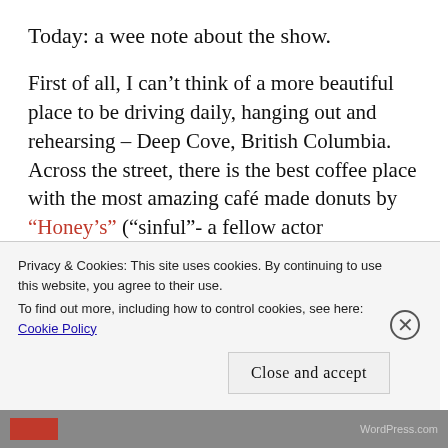Today: a wee note about the show.
First of all, I can’t think of a more beautiful place to be driving daily, hanging out and rehearsing – Deep Cove, British Columbia. Across the street, there is the best coffee place with the most amazing café made donuts by “Honey’s” (“sinful”- a fellow actor deliciously described them-especially the chocolate dipped ones)
Privacy & Cookies: This site uses cookies. By continuing to use this website, you agree to their use.
To find out more, including how to control cookies, see here: Cookie Policy
Close and accept